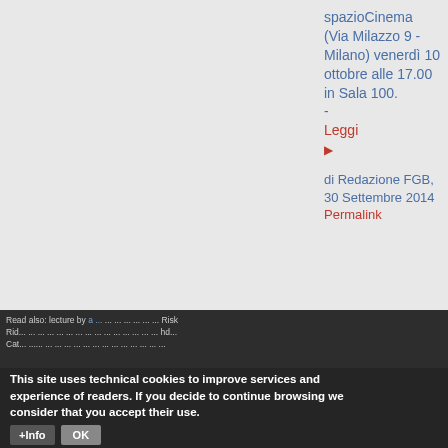spazioCinema (Via Milazzo 9 - Milano) venerdì 10 ottobre alle 17.00 in Sala 100. - Leggi ▶ di Redazione FGB, 30 Settembre 2014 Permalink
This site uses technical cookies to improve services and experience of readers. If you decide to continue browsing we consider that you accept their use.